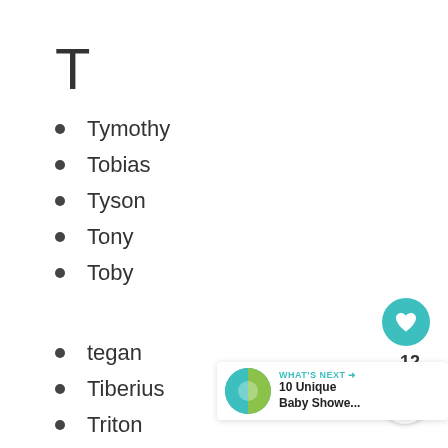T
Tymothy
Tobias
Tyson
Tony
Toby
tegan
Tiberius
Triton
Triston
Takoda